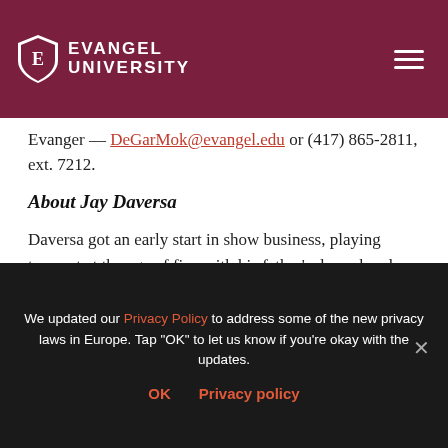Evangel University
Evanger — DeGarMok@evangel.edu or (417) 865-2811, ext. 7212.
About Jay Daversa
Daversa got an early start in show business, playing trumpet at the age of five with his father’s dance band. After several youthful TV appearances and a stint as solo trumpet for the 6th Army Band at the Presidio of San Francisco, he landed a recording gig with Stan Kenton. For this he was heralded as the “Most
We updated our Privacy Policy to address some of the new privacy laws in Europe. Tap "OK" to let us know if you're okay with the updates.

OK   Privacy policy